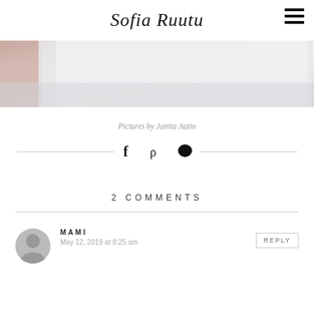Sofia Ruutu
[Figure (photo): Partial view of a bedroom scene with white bedding and fabric textures]
Pictures by Janita Autio
Social share icons: Facebook, Pinterest, Comment
2 COMMENTS
MAMI
May 12, 2019 at 8:25 am